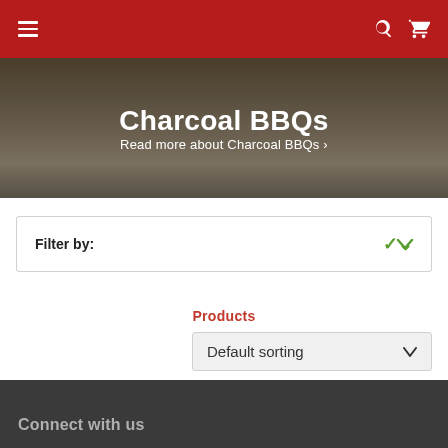Navigation header with hamburger menu, search icon, and cart icon
Charcoal BBQs
Read more about Charcoal BBQs >
Filter by:
Products
Default sorting
Connect with us